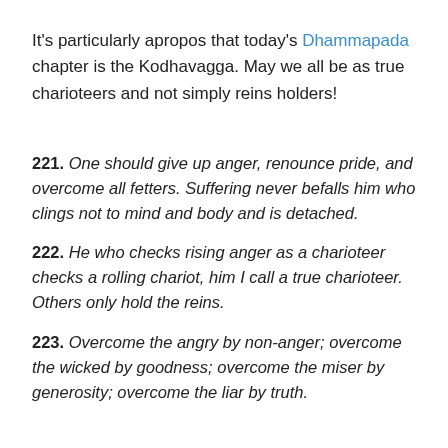It's particularly apropos that today's Dhammapada chapter is the Kodhavagga. May we all be as true charioteers and not simply reins holders!
221. One should give up anger, renounce pride, and overcome all fetters. Suffering never befalls him who clings not to mind and body and is detached.
222. He who checks rising anger as a charioteer checks a rolling chariot, him I call a true charioteer. Others only hold the reins.
223. Overcome the angry by non-anger; overcome the wicked by goodness; overcome the miser by generosity; overcome the liar by truth.